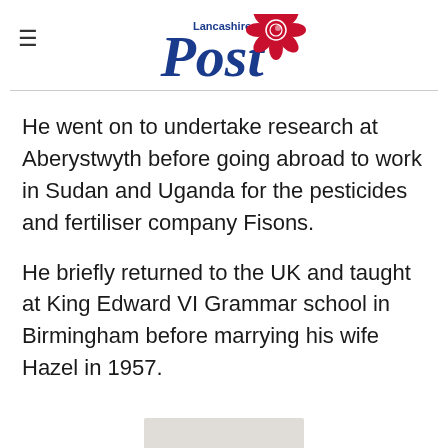Lancashire Post
He went on to undertake research at Aberystwyth before going abroad to work in Sudan and Uganda for the pesticides and fertiliser company Fisons.
He briefly returned to the UK and taught at King Edward VI Grammar school in Birmingham before marrying his wife Hazel in 1957.
[Figure (photo): Partially visible image at bottom of page]